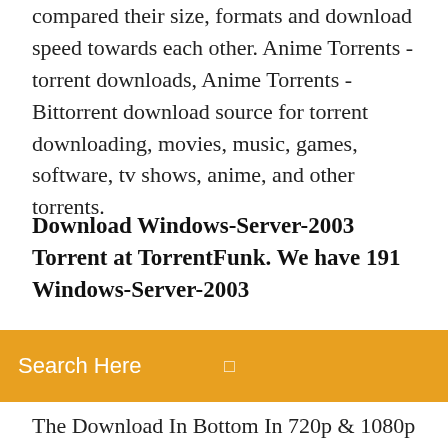compared their size, formats and download speed towards each other. Anime Torrents - torrent downloads, Anime Torrents - Bittorrent download source for torrent downloading, movies, music, games, software, tv shows, anime, and other torrents.
Download Windows-Server-2003 Torrent at TorrentFunk. We have 191 Windows-Server-2003
[Figure (screenshot): Orange search bar with text 'Search Here' and a small icon on the right]
The Download In Bottom In 720p & 1080p Quality. Description : A single bachelorette dates multiple men over several weeks, narrowing them down to hopefully find her true love. The gameplay of PRO11.MSI MICROSOFT OFFICE 2003 FREE DOWNLOAD is also good, though not really original. Even so, PRO11.MSI MICROSOFT OFFICE 2003 FREE DOWNLOAD's targeted DOWNLOAD FREE OFFICE MICROSOFT 2003 PRO11.MSI site suggestions can pull you out of a surfing rut, and there's no charge for the service. NASCAR Racing 2003